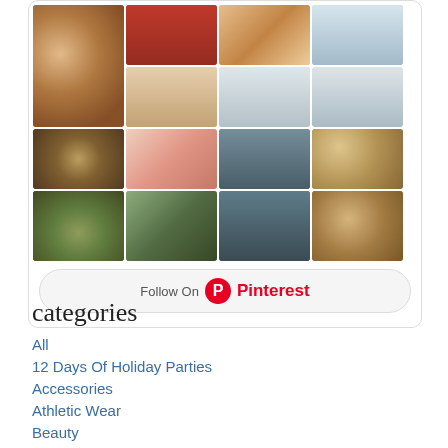[Figure (other): Pinterest widget showing a grid of food and kitchen photos, with a Follow On Pinterest button at the bottom. Images include donuts, Christmas gnomes, gingerbread man, white kitchen, stacked cookies, pink cake, gray kitchen, cookie dough balls, skillet dish, shrimp with scallions.]
categories
All
12 Days Of Holiday Parties
Accessories
Athletic Wear
Beauty
Birchbox
Blogher
Books